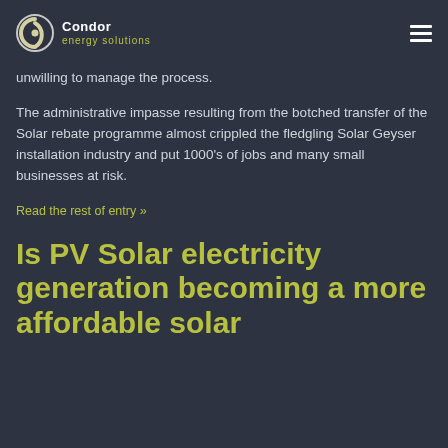[Figure (logo): Condor Energy Solutions logo with stylized C icon in white/gold and text 'Condor energy solutions']
unwilling to manage the process.
The administrative impasse resulting from the botched transfer of the Solar rebate programme almost crippled the fledgling Solar Geyser installation industry and put 1000's of jobs and many small businesses at risk.
Read the rest of entry »
Is PV Solar electricity generation becoming a more affordable solar